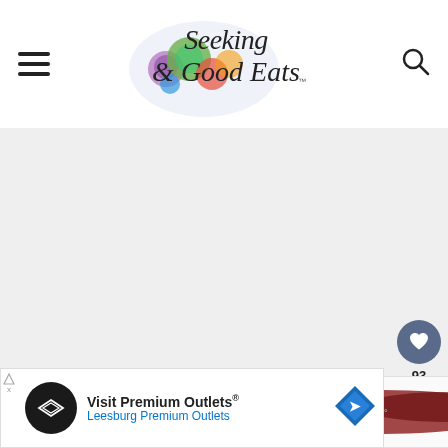Seeking Good Eats
[Figure (other): Gray advertisement placeholder area]
[Figure (photo): Food photo showing green herbs and dark sauce/food items on a white surface]
[Figure (logo): WW (Weight Watchers) logo]
[Figure (infographic): Heart save button with count 93 and share button]
[Figure (infographic): Advertisement banner: Visit Premium Outlets® Leesburg Premium Outlets with arrow logo and navigation icon]